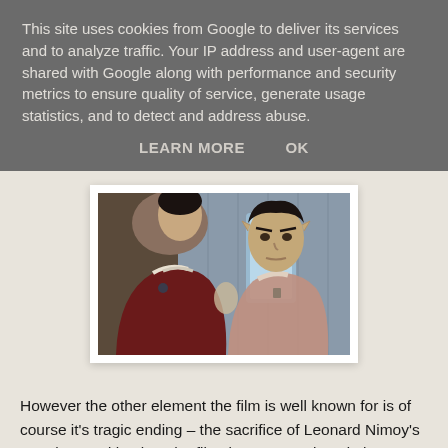This site uses cookies from Google to deliver its services and to analyze traffic. Your IP address and user-agent are shared with Google along with performance and security metrics to ensure quality of service, generate usage statistics, and to detect and address abuse.
LEARN MORE    OK
[Figure (photo): Two men in Star Trek uniforms facing each other closely, one in dark red uniform with back to camera, the other (Spock) in lighter jacket facing camera]
However the other element the film is well known for is of course it's tragic ending – the sacrifice of Leonard Nimoy's Spock. Lured back to the film, but not convinced about ever returning, Nimoy agreed to the final reel shocker (although he enjoyed making the film so much he willingly agreed to leave the door open for Spock's resurrection). It gives the